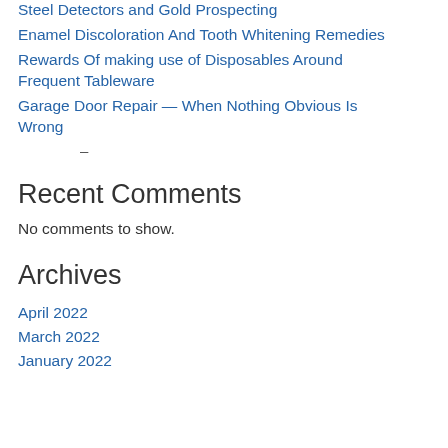Steel Detectors and Gold Prospecting
Enamel Discoloration And Tooth Whitening Remedies
Rewards Of making use of Disposables Around Frequent Tableware
Garage Door Repair — When Nothing Obvious Is Wrong
–
Recent Comments
No comments to show.
Archives
April 2022
March 2022
January 2022